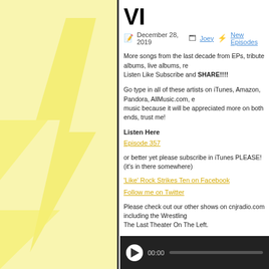VI
December 28, 2019   Joey   New Episodes
More songs from the last decade from EPs, tribute albums, live albums, re... Listen Like Subscribe and SHARE!!!!
Go type in all of these artists on iTunes, Amazon, Pandora, AllMusic.com, e... music because it will be appreciated more on both ends, trust me!
Listen Here
Episode 357
or better yet please subscribe in iTunes PLEASE! (it's in there somewhere)
'Like' Rock Strikes Ten on Facebook
Follow me on Twitter
Please check out our other shows on cnjradio.com including the Wrestling... The Last Theater On The Left.
'Like' and recommend The Synaptic by our good friend Randy. The guy kn... is vast.
[Figure (other): Audio player bar with play button, 00:00 timestamp and progress track]